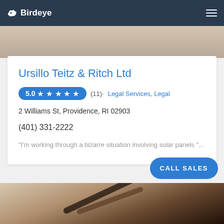Birdeye
[Figure (photo): Cropped photo of handwriting/document scene at top]
Ursillo Teitz & Ritch Ltd
5.0 ★ ★ ★ ★ ★  (11)· Legal Services, Legal
2 Williams St, Providence, RI 02903
(401) 331-2222
"I'm working through a bizarre situation involving solar panels "...
CALL SALES
[Figure (photo): Photo of fountain pens on a document with handwriting]